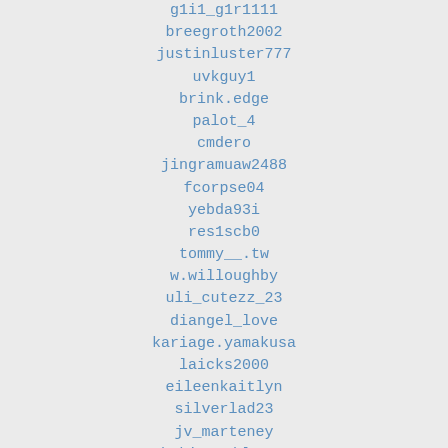g1i1_g1r1111
breegroth2002
justinluster777
uvkguy1
brink.edge
palot_4
cmdero
jingramuaw2488
fcorpse04
yebda93i
res1scb0
tommy__.tw
w.willoughby
uli_cutezz_23
diangel_love
kariage.yamakusa
laicks2000
eileenkaitlyn
silverlad23
jv_marteney
bekixssable_92
kxd13366
sever1979
rose560307
carlosmauricio-d-v1